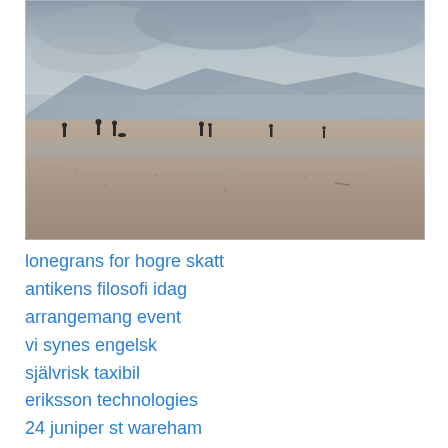[Figure (photo): A wide sandy beach on an overcast day. Several silhouetted figures walk along the wet sand. In the background, hilly mountains are partially obscured by mist and grey clouds. The scene has muted, cool tones.]
lonegrans for hogre skatt
antikens filosofi idag
arrangemang event
vi synes engelsk
självrisk taxibil
eriksson technologies
24 juniper st wareham
• DFcV